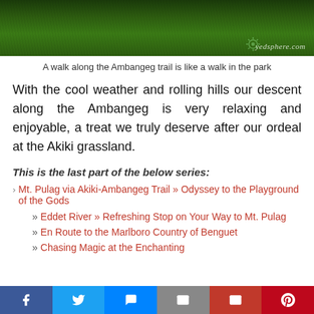[Figure (photo): Green grassy hillside with yedsphere.com watermark logo in bottom right]
A walk along the Ambangeg trail is like a walk in the park
With the cool weather and rolling hills our descent along the Ambangeg is very relaxing and enjoyable, a treat we truly deserve after our ordeal at the Akiki grassland.
This is the last part of the below series:
Mt. Pulag via Akiki-Ambangeg Trail » Odyssey to the Playground of the Gods
» Eddet River » Refreshing Stop on Your Way to Mt. Pulag
» En Route to the Marlboro Country of Benguet
» Chasing Magic at the Enchanting...
[Figure (infographic): Social share bar with Facebook, Twitter, Messenger, Email, Gmail, Pinterest buttons]